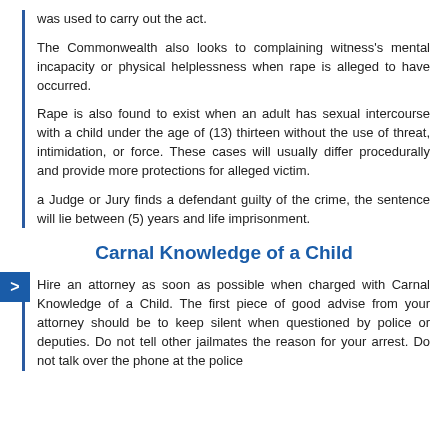was used to carry out the act.
The Commonwealth also looks to complaining witness's mental incapacity or physical helplessness when rape is alleged to have occurred.
Rape is also found to exist when an adult has sexual intercourse with a child under the age of (13) thirteen without the use of threat, intimidation, or force. These cases will usually differ procedurally and provide more protections for alleged victim.
a Judge or Jury finds a defendant guilty of the crime, the sentence will lie between (5) years and life imprisonment.
Carnal Knowledge of a Child
Hire an attorney as soon as possible when charged with Carnal Knowledge of a Child. The first piece of good advise from your attorney should be to keep silent when questioned by police or deputies. Do not tell other jailmates the reason for your arrest. Do not talk over the phone at the police